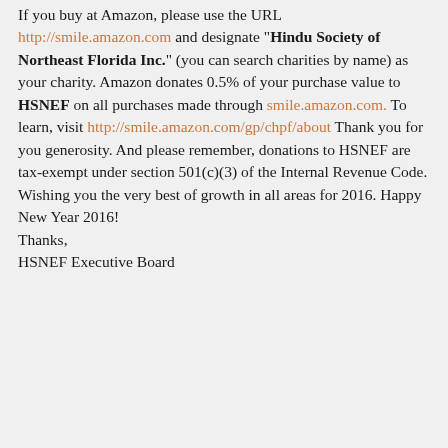If you buy at Amazon, please use the URL http://smile.amazon.com and designate "Hindu Society of Northeast Florida Inc." (you can search charities by name) as your charity. Amazon donates 0.5% of your purchase value to HSNEF on all purchases made through smile.amazon.com. To learn, visit http://smile.amazon.com/gp/chpf/about Thank you for you generosity. And please remember, donations to HSNEF are tax-exempt under section 501(c)(3) of the Internal Revenue Code. Wishing you the very best of growth in all areas for 2016. Happy New Year 2016! Thanks, HSNEF Executive Board